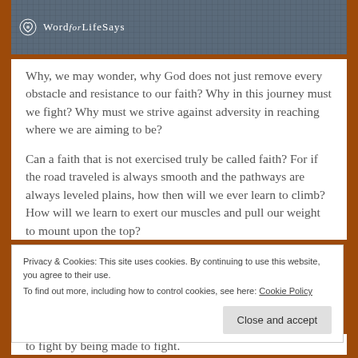[Figure (logo): Word for Life Says website header banner with logo text on dark textured background]
Why, we may wonder, why God does not just remove every obstacle and resistance to our faith?  Why in this journey must we fight?  Why must we strive against adversity in reaching where we are aiming to be?
Can a faith that is not exercised truly be called faith?  For if the road traveled is always smooth and the pathways are always leveled plains, how then will we ever learn to climb?  How will we learn to exert our muscles and pull our weight to mount upon the top?
Privacy & Cookies: This site uses cookies. By continuing to use this website, you agree to their use.
To find out more, including how to control cookies, see here: Cookie Policy
to fight by being made to fight.